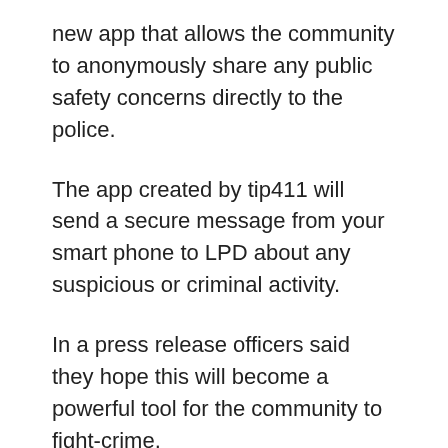new app that allows the community to anonymously share any public safety concerns directly to the police.
The app created by tip411 will send a secure message from your smart phone to LPD about any suspicious or criminal activity.
In a press release officers said they hope this will become a powerful tool for the community to fight-crime.
“The Leander Police Department understands that fighting crime takes a working partnership with the